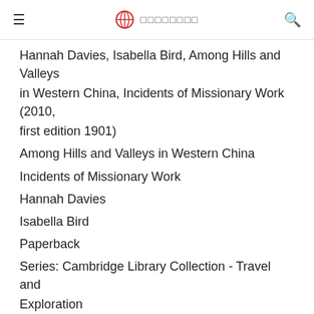≡  ⊕  □□□□□□□□  🔍
Hannah Davies, Isabella Bird, Among Hills and Valleys in Western China, Incidents of Missionary Work (2010, first edition 1901)
Among Hills and Valleys in Western China
Incidents of Missionary Work
Hannah Davies
Isabella Bird
Paperback
Series: Cambridge Library Collection - Travel and Exploration
ISBN: 9781108013888
Publication date: November 2010
332 pages
39 b/w illus. 1 map